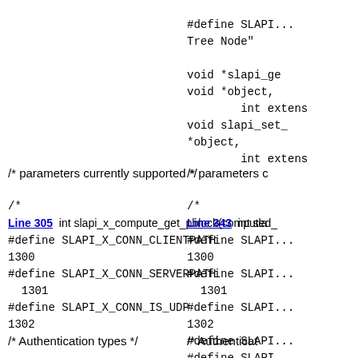#define SLAP...
Tree Node"
void *slapi_ge
void *object,
        int extens
void slapi_set_
*object,
        int extens
/* parameters currently supported */
/* parameters c
/*
Line 305  int slapi_x_compute_get_pblock(computed_
#define SLAPI_X_CONN_CLIENTPATH
1300
#define SLAPI_X_CONN_SERVERPATH
  1301
#define SLAPI_X_CONN_IS_UDP
1302
/*
Line 343  int sla
#define SLAPI...
1300
#define SLAPI...
  1301
#define SLAPI...
1302
#define SLAPI...
#define SLAPI...
    1304
/* Authentication types */
/* Authenticat